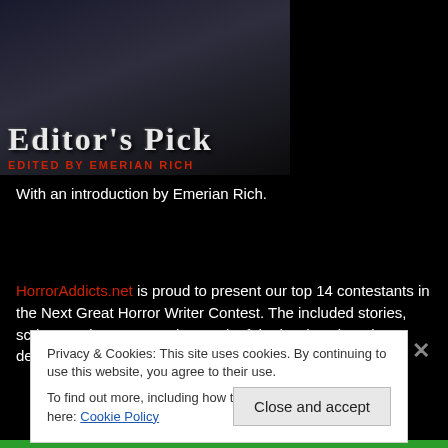[Figure (illustration): Book cover image with dark background showing 'Editor's Pick' title in ornate serif font and subtitle 'EDITED BY EMERIAN RICH' in red text]
With an introduction by Emerian Rich.
HorrorAddicts.net is proud to present our top 14 contestants in the Next Great Horror Writer Contest. The included stories, scripts, and poems are the result of the hard work and dedication these fine writers put forth to win a book
Privacy & Cookies: This site uses cookies. By continuing to use this website, you agree to their use.
To find out more, including how to control cookies, see here: Cookie Policy
Close and accept